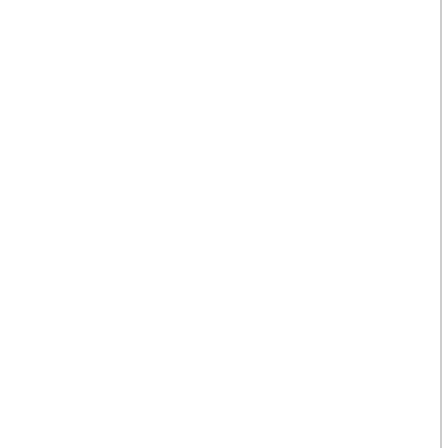1  BARKER-SMITH  W18A  47.5
W21E 5.20 km 23 C
| Pl | Name | Class | Time |
| --- | --- | --- | --- |
| 1 | Lizzie INGHAM | W21E | 32... |
| 2 | Vanessa Round | W21E | 32... |
| 3 | Aislinn Prendergast | W21E | 34... |
| 4 | Jasmine Neve | W21E | 35... |
| 5 | Grace Crane | W21E | 36... |
| 6 | Susanne Casanova | W21E | 36... |
| 7 | Allison Jones | W21E | 36... |
| 8 | Bridget Anderson | W21E | 36... |
| 9 | Anna Sheldon | W21E | 37... |
| 10 | Imogene Scott | W21E | 37... |